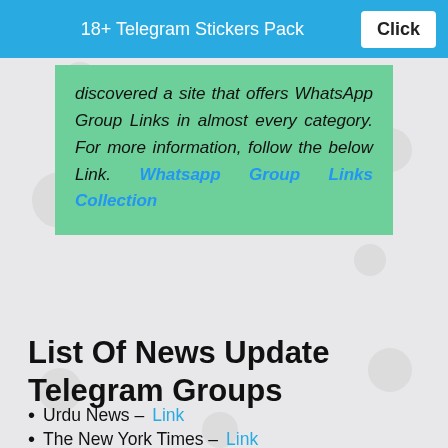18+ Telegram Stickers Pack   Click
discovered a site that offers WhatsApp Group Links in almost every category. For more information, follow the below Link. Whatsapp Group Links Collection
List Of News Update Telegram Groups
Urdu News – Link
The New York Times – Link
CNN – Link
India Unzipped News – Link